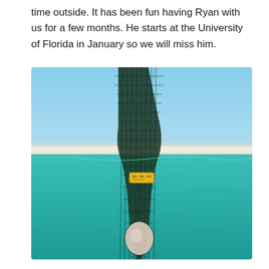time outside. It has been fun having Ryan with us for a few months. He starts at the University of Florida in January so we will miss him.
[Figure (photo): A fishing net held up over turquoise ocean water near a white sandy beach. The net contains what appears to be a large round pale object at the bottom and a yellow object in the middle. The sky is clear blue and a white sand beach is visible in the background.]